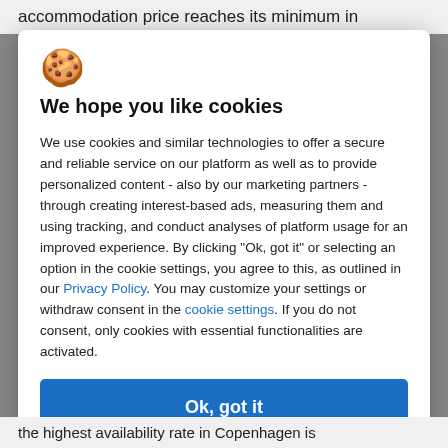accommodation price reaches its minimum in
We hope you like cookies
We use cookies and similar technologies to offer a secure and reliable service on our platform as well as to provide personalized content - also by our marketing partners - through creating interest-based ads, measuring them and using tracking, and conduct analyses of platform usage for an improved experience. By clicking "Ok, got it" or selecting an option in the cookie settings, you agree to this, as outlined in our Privacy Policy. You may customize your settings or withdraw consent in the cookie settings. If you do not consent, only cookies with essential functionalities are activated.
Ok, got it
Cookie settings
the highest availability rate in Copenhagen is